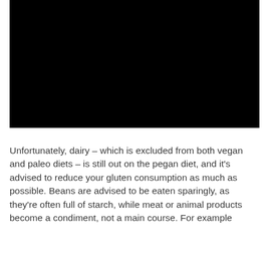[Figure (photo): Black rectangular image placeholder at the top of the page]
Unfortunately, dairy – which is excluded from both vegan and paleo diets – is still out on the pegan diet, and it's advised to reduce your gluten consumption as much as possible. Beans are advised to be eaten sparingly, as they're often full of starch, while meat or animal products become a condiment, not a main course. For example